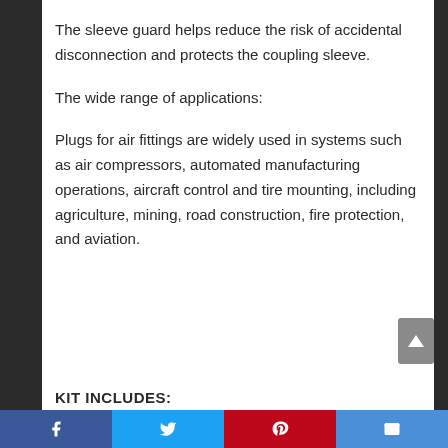The sleeve guard helps reduce the risk of accidental disconnection and protects the coupling sleeve.
The wide range of applications:
Plugs for air fittings are widely used in systems such as air compressors, automated manufacturing operations, aircraft control and tire mounting, including agriculture, mining, road construction, fire protection, and aviation.
KIT INCLUDES: